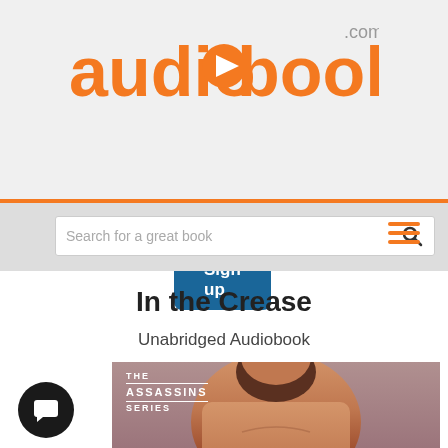[Figure (logo): audiobooks.com logo in orange with play button icon in the 'o']
Sign up
Search for a great book
In the Crease
Unabridged Audiobook
[Figure (photo): Book cover for 'In the Crease' from The Assassins Series, showing a muscular man with a beard, with 'IN THE' text visible at the bottom in pink/red lettering]